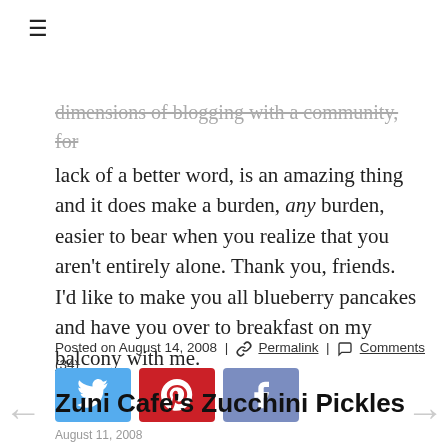≡
dimensions of blogging with a community, for lack of a better word, is an amazing thing and it does make a burden, any burden, easier to bear when you realize that you aren't entirely alone. Thank you, friends. I'd like to make you all blueberry pancakes and have you over to breakfast on my balcony with me.
Posted on August 14, 2008 | 🔗 Permalink | 💬 Comments (34)
[Figure (infographic): Social share buttons: Twitter (blue), Pinterest (red), Facebook (muted blue)]
Zuni Cafe's Zucchini Pickles
August 11, 2008
[Figure (photo): Food photo at bottom of page, partially visible]